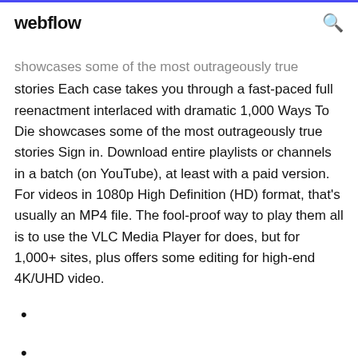webflow
showcases some of the most outrageously true stories  Each case takes you through a fast-paced full reenactment interlaced with dramatic 1,000 Ways To Die showcases some of the most outrageously true stories  Sign in. Download entire playlists or channels in a batch (on YouTube), at least with a paid version. For videos in 1080p High Definition (HD) format, that's usually an MP4 file. The fool-proof way to play them all is to use the VLC Media Player for does, but for 1,000+ sites, plus offers some editing for high-end 4K/UHD video.